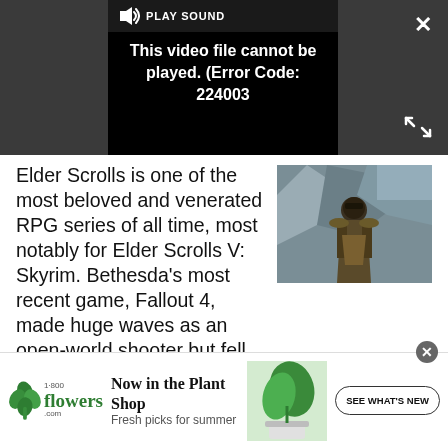[Figure (screenshot): Video player showing error message: 'This video file cannot be played. (Error Code: 224003)' with a PLAY SOUND button, close X button, and expand arrows icon on dark grey background.]
Elder Scrolls is one of the most beloved and venerated RPG series of all time, most notably for Elder Scrolls V: Skyrim. Bethesda's most recent game, Fallout 4, made huge waves as an open-world shooter but fell short of the true "RPG" Bethesda is known for.
[Figure (photo): Screenshot from Elder Scrolls V: Skyrim showing an armored character standing in a rocky environment.]
[Figure (infographic): Advertisement banner for 1-800-Flowers.com: 'Now in the Plant Shop - Fresh picks for summer' with SEE WHAT'S NEW button and plant image.]